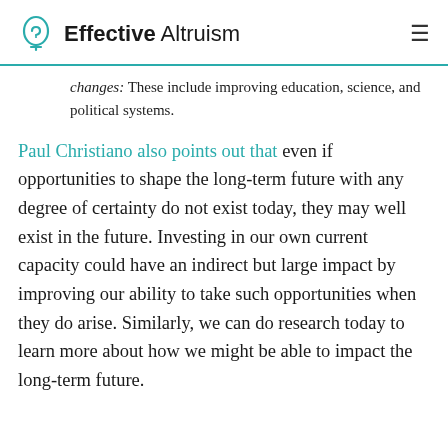Effective Altruism
changes: These include improving education, science, and political systems.
Paul Christiano also points out that even if opportunities to shape the long-term future with any degree of certainty do not exist today, they may well exist in the future. Investing in our own current capacity could have an indirect but large impact by improving our ability to take such opportunities when they do arise. Similarly, we can do research today to learn more about how we might be able to impact the long-term future.